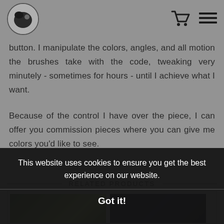[Logo icon] [Cart icon] [List icon]
button.  I manipulate the colors, angles, and all motion the brushes take with the code, tweaking very minutely - sometimes for hours - until I achieve what I want.
Because of the control I have over the piece, I can offer you commission pieces where you can give me colors you'd like to see.
RELATED PRODUCTS
[Figure (photo): Two product thumbnail images in a related products section, one green-toned and one dark/black-toned]
This website uses cookies to ensure you get the best experience on our website.
Got it!